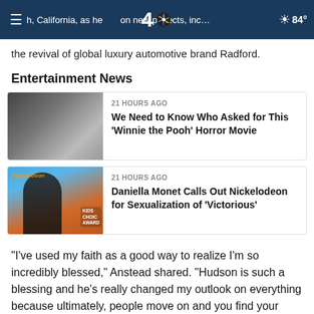B...h, California, as he [NBC4] on new projects, including the revival of global luxury automotive brand Radford. 84°
the revival of global luxury automotive brand Radford.
Entertainment News
[Figure (photo): Thumbnail image for Winnie the Pooh Horror Movie article - dark, moody image of a figure]
21 HOURS AGO
We Need to Know Who Asked for This 'Winnie the Pooh' Horror Movie
[Figure (photo): Thumbnail image for Daniella Monet article - woman in black striped outfit at Nickelodeon Kids Choice Awards]
21 HOURS AGO
Daniella Monet Calls Out Nickelodeon for Sexualization of 'Victorious'
"I've used my faith as a good way to realize I'm so incredibly blessed," Anstead shared. "Hudson is such a blessing and he's really changed my outlook on everything because ultimately, people move on and you find your happiness and I've used faith to do that quicker."